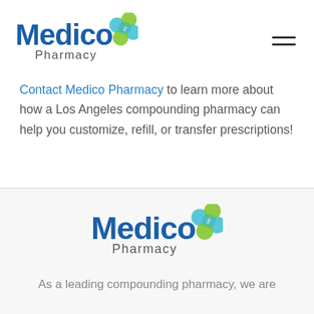[Figure (logo): Medico Pharmacy logo with green and teal cross icon, top-left header]
Contact Medico Pharmacy to learn more about how a Los Angeles compounding pharmacy can help you customize, refill, or transfer prescriptions!
[Figure (logo): Medico Pharmacy logo with green and teal cross icon, centered in footer section]
As a leading compounding pharmacy, we are